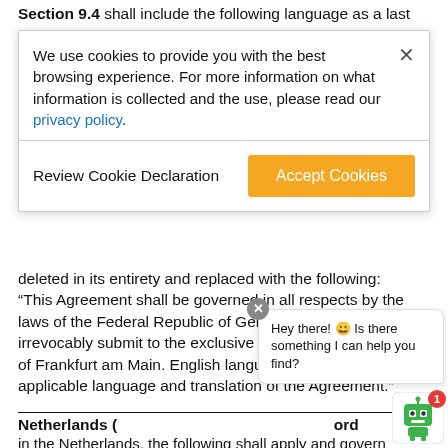Section 9.4 shall include the following language as a last
[Figure (screenshot): Cookie consent banner overlay with message about cookies, a close X button, 'Review Cookie Declaration' text button, and an orange 'Accept Cookies' button.]
deleted in its entirety and replaced with the following: “This Agreement shall be governed in all respects by the laws of the Federal Republic of Germany. The Parties each irrevocably submit to the exclusive jurisdiction of the Courts of Frankfurt am Main. English language shall be the applicable language and translation of the Agreement.”
[Figure (screenshot): Chat widget overlay showing a robot icon with a green robot avatar, a red badge with number 1, and a speech bubble saying 'Hey there! Is there something I can help you find?', with an X close button.]
Netherlands (
in the Netherlands, the following shall apply and govern